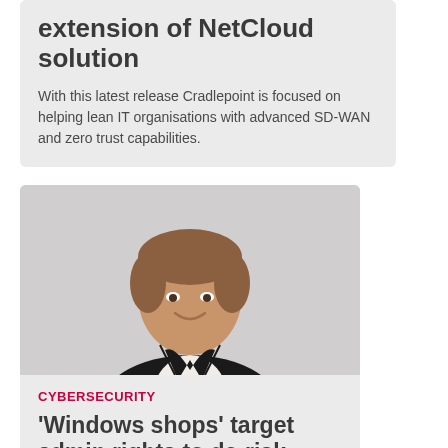extension of NetCloud solution
With this latest release Cradlepoint is focused on helping lean IT organisations with advanced SD-WAN and zero trust capabilities.
[Figure (photo): Headshot of a smiling man with short brown hair wearing a dark suit jacket and white shirt, photographed against a white background.]
CYBERSECURITY
'Windows shops' target admin rights to de-risk their